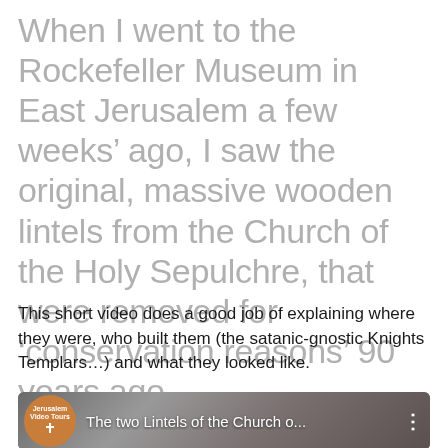When I went to the Rockefeller Museum in East Jerusalem a few weeks’ ago, I saw the original, massive wooden lintels from the Church of the Holy Sepulchre, that were removed for ‘conservation reasons’ 90 years ago.
This short video does a good job of explaining where they were, who built them (the satanic-gnostic Knights Templars…) and what they looked like.
[Figure (screenshot): Video thumbnail showing carved stone architectural detail with Jerusalem Video Tours logo and title 'The two Lintels of the Church o...']